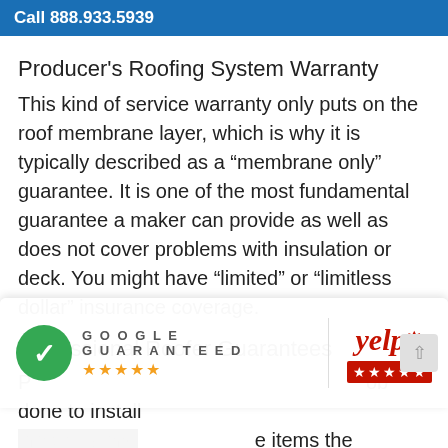Call 888.933.5939
Producer’s Roofing System Warranty
This kind of service warranty only puts on the roof membrane layer, which is why it is typically described as a “membrane only” guarantee. It is one of the most fundamental guarantee a maker can provide as well as does not cover problems with insulation or deck. You might have “limited” or “limitless dollar” insurance coverage.
Professional Roofer Guarantees
P… ob done to install … items the specialist utilized throughout the setup. Roofing